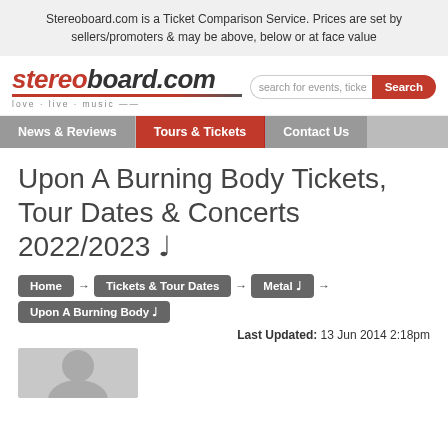Stereoboard.com is a Ticket Comparison Service. Prices are set by sellers/promoters & may be above, below or at face value
[Figure (logo): Stereoboard.com logo with tagline 'love · live · music' and search bar]
[Figure (screenshot): Navigation bar with News & Reviews, Tours & Tickets (active), Contact Us]
Upon A Burning Body Tickets, Tour Dates & Concerts 2022/2023 ♩
Home → Tickets & Tour Dates → Metal ♩ → Upon A Burning Body ♩
Last Updated: 13 Jun 2014 2:18pm
[Figure (photo): Partial photo thumbnail at bottom left]